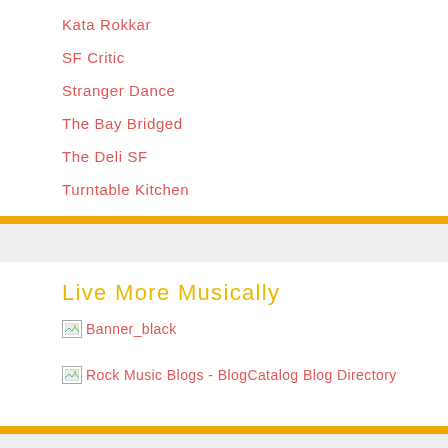Kata Rokkar
SF Critic
Stranger Dance
The Bay Bridged
The Deli SF
Turntable Kitchen
Live More Musically
[Figure (other): Banner_black image placeholder with broken image icon]
[Figure (other): Rock Music Blogs - BlogCatalog Blog Directory image placeholder with broken image icon]